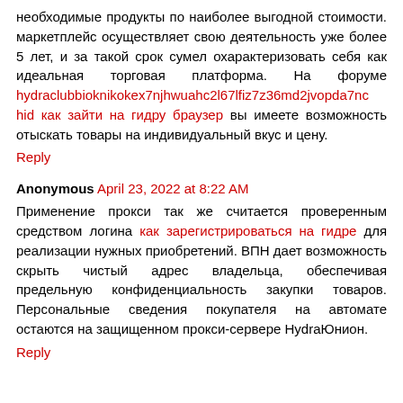необходимые продукты по наиболее выгодной стоимости. маркетплейс осуществляет свою деятельность уже более 5 лет, и за такой срок сумел охарактеризовать себя как идеальная торговая платформа. На форуме hydraclubbioknikokex7njhwuahc2l67lfiz7z36md2jvopda7nc hid как зайти на гидру браузер вы имеете возможность отыскать товары на индивидуальный вкус и цену.
Reply
Anonymous April 23, 2022 at 8:22 AM
Применение прокси так же считается проверенным средством логина как зарегистрироваться на гидре для реализации нужных приобретений. ВПН дает возможность скрыть чистый адрес владельца, обеспечивая предельную конфиденциальность закупки товаров. Персональные сведения покупателя на автомате остаются на защищенном прокси-сервере HydraЮнион.
Reply